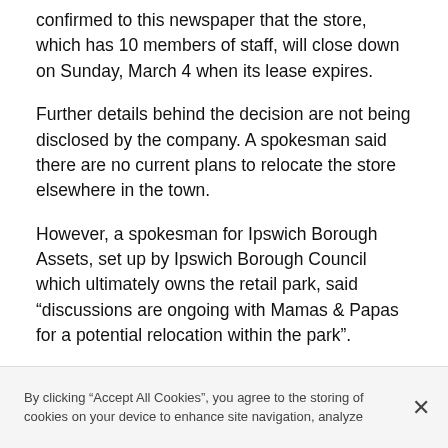confirmed to this newspaper that the store, which has 10 members of staff, will close down on Sunday, March 4 when its lease expires.
Further details behind the decision are not being disclosed by the company. A spokesman said there are no current plans to relocate the store elsewhere in the town.
However, a spokesman for Ipswich Borough Assets, set up by Ipswich Borough Council which ultimately owns the retail park, said “discussions are ongoing with Mamas & Papas for a potential relocation within the park”.
The spokesman added: “The Mamas & Papas store at Anglia Retail Park is closing by agreement of the
By clicking “Accept All Cookies”, you agree to the storing of cookies on your device to enhance site navigation, analyze